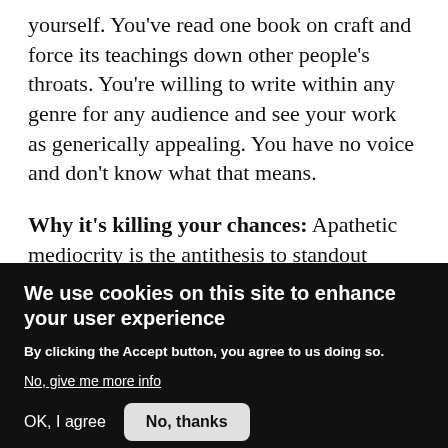yourself. You've read one book on craft and force its teachings down other people's throats. You're willing to write within any genre for any audience and see your work as generically appealing. You have no voice and don't know what that means.
Why it's killing your chances: Apathetic mediocrity is the antithesis to standout filmmaking and nobody wants to make art that blends into the background. Even the most crowd-pleasingly orientated blockbusters have edge and integrity to their stor…
We use cookies on this site to enhance your user experience
By clicking the Accept button, you agree to us doing so.
No, give me more info
OK, I agree
No, thanks